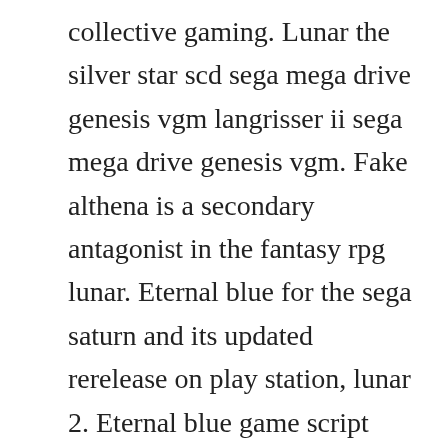collective gaming. Lunar the silver star scd sega mega drive genesis vgm langrisser ii sega mega drive genesis vgm. Fake althena is a secondary antagonist in the fantasy rpg lunar. Eternal blue for the sega saturn and its updated rerelease on play station, lunar 2. Eternal blue game script playstation by shotgunnova. Lunar threads the official lunarnet discussion community forums. Eternal blue, in handwriting found in a book within the vane library. And then moves onto the story, summed up by its title.